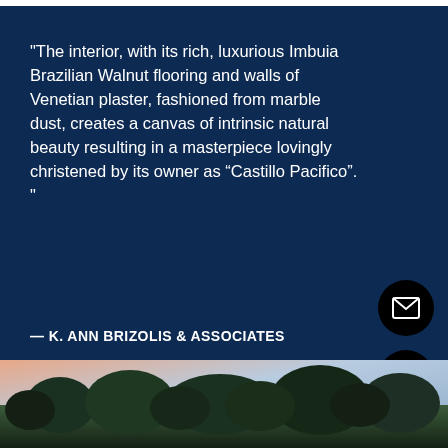"The interior, with its rich, luxurious Imbuia Brazilian Walnut flooring and walls of Venetian plaster, fashioned from marble dust, creates a canvas of intrinsic natural beauty resulting in a masterpiece lovingly christened by its owner as “Castillo Pacifico”. "
— K. ANN BRIZOLIS & ASSOCIATES
[Figure (photo): Outdoor landscape photo showing trees silhouetted against a dusk/dawn sky with pink and blue tones]